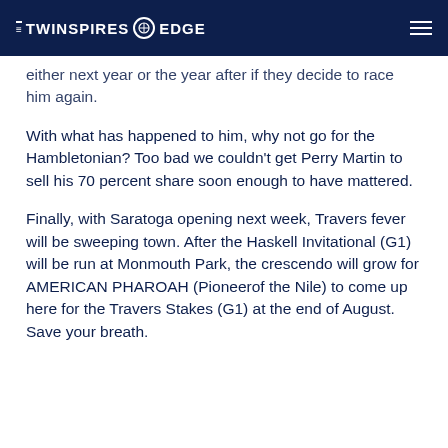THE TWINSPIRES EDGE
either next year or the year after if they decide to race him again.
With what has happened to him, why not go for the Hambletonian? Too bad we couldn't get Perry Martin to sell his 70 percent share soon enough to have mattered.
Finally, with Saratoga opening next week, Travers fever will be sweeping town. After the Haskell Invitational (G1) will be run at Monmouth Park, the crescendo will grow for AMERICAN PHAROAH (Pioneerof the Nile) to come up here for the Travers Stakes (G1) at the end of August. Save your breath.